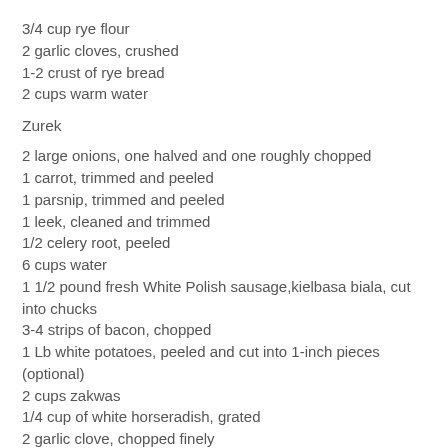3/4 cup rye flour
2 garlic cloves, crushed
1-2 crust of rye bread
2 cups warm water
Zurek
2 large onions, one halved and one roughly chopped
1 carrot, trimmed and peeled
1 parsnip, trimmed and peeled
1 leek, cleaned and trimmed
1/2 celery root, peeled
6 cups water
1 1/2 pound fresh White Polish sausage,kielbasa biala, cut into chucks
3-4 strips of bacon, chopped
1 Lb white potatoes, peeled and cut into 1-inch pieces (optional)
2 cups zakwas
1/4 cup of white horseradish, grated
2 garlic clove, chopped finely